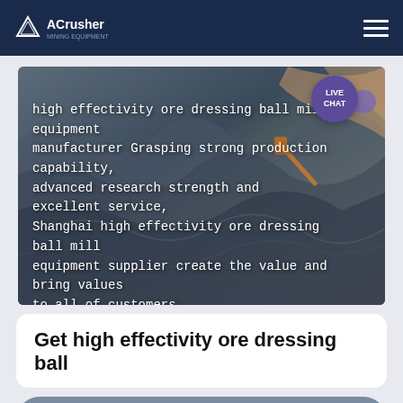ACrusher Mining Equipment
[Figure (photo): Aerial view of a mining/quarry site with excavation equipment and rocky terrain in grey-blue tones]
high effectivity ore dressing ball mill equipment manufacturer Grasping strong production capability, advanced research strength and excellent service, Shanghai high effectivity ore dressing ball mill equipment supplier create the value and bring values to all of customers.
Get high effectivity ore dressing ball
Online Chat | Sales Hotline